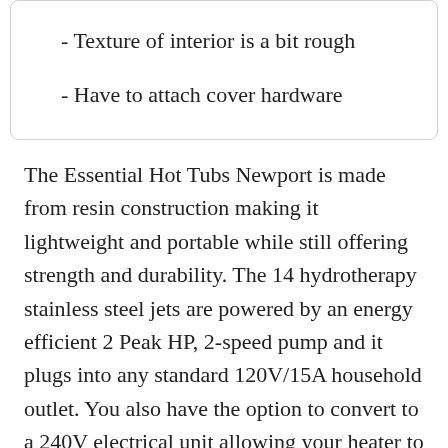- Texture of interior is a bit rough
- Have to attach cover hardware
The Essential Hot Tubs Newport is made from resin construction making it lightweight and portable while still offering strength and durability. The 14 hydrotherapy stainless steel jets are powered by an energy efficient 2 Peak HP, 2-speed pump and it plugs into any standard 120V/15A household outlet. You also have the option to convert to a 240V electrical unit allowing your heater to perform at its